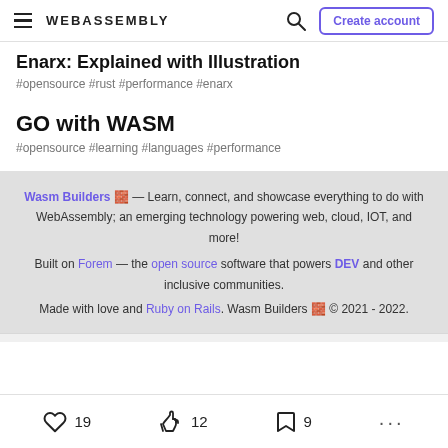WEBASSEMBLY — Create account
Enarx: Explained with Illustration
#opensource #rust #performance #enarx
GO with WASM
#opensource #learning #languages #performance
Wasm Builders 🧱 — Learn, connect, and showcase everything to do with WebAssembly; an emerging technology powering web, cloud, IOT, and more!

Built on Forem — the open source software that powers DEV and other inclusive communities.
Made with love and Ruby on Rails. Wasm Builders 🧱 © 2021 - 2022.
19  12  9  ...